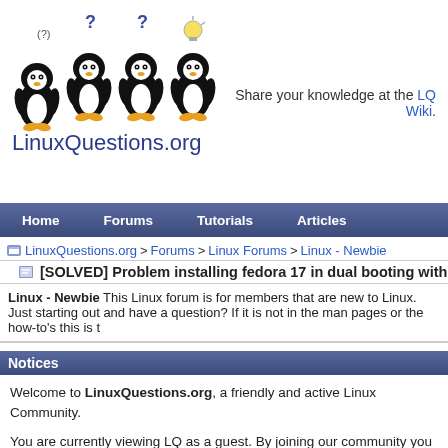[Figure (logo): LinuxQuestions.org logo with four Tux penguins and the site name]
Share your knowledge at the LQ Wiki.
Home  Forums  Tutorials  Articles
LinuxQuestions.org > Forums > Linux Forums > Linux - Newbie
[SOLVED] Problem installing fedora 17 in dual booting with win
Linux - Newbie This Linux forum is for members that are new to Linux. Just starting out and have a question? If it is not in the man pages or the how-to's this is t
Notices
Welcome to LinuxQuestions.org, a friendly and active Linux Community. You are currently viewing LQ as a guest. By joining our community you wi newsletter, use the advanced search, subscribe to threads and access ma simple and absolutely free. Join our community today!